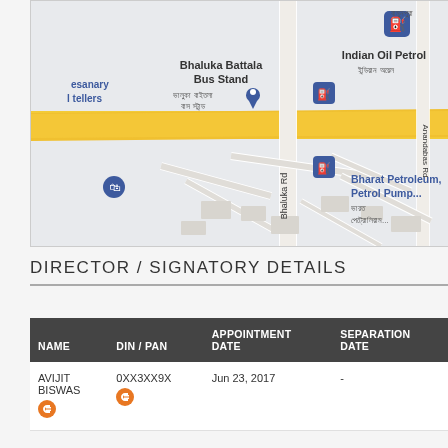[Figure (map): Google Maps screenshot showing Bhaluka Battala Bus Stand area with roads including Bhaluka Rd and Anandabas Rd, showing locations of Indian Oil Petrol station and Bharat Petroleum Petrol Pump]
DIRECTOR / SIGNATORY DETAILS
| NAME | DIN / PAN | APPOINTMENT DATE | SEPARATION DATE |
| --- | --- | --- | --- |
| AVIJIT BISWAS | 0XX3XX9X | Jun 23, 2017 | - |